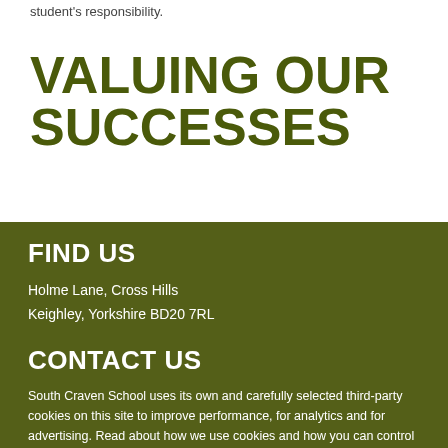student's responsibility.
VALUING OUR SUCCESSES
FIND US
Holme Lane, Cross Hills
Keighley, Yorkshire BD20 7RL
CONTACT US
South Craven School uses its own and carefully selected third-party cookies on this site to improve performance, for analytics and for advertising. Read about how we use cookies and how you can control them by clicking Cookie Settings. You consent to our cookies if you continue to use this website. For more information see our Privacy notice